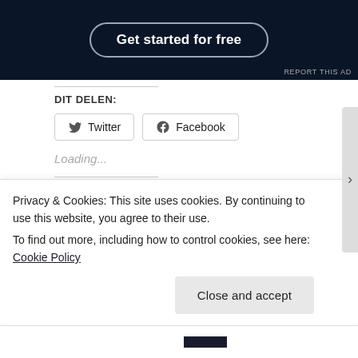[Figure (screenshot): Dark ad banner with 'Get started for free' button and 'REPORT THIS AD' text]
REPORT THIS AD
DIT DELEN:
Twitter
Facebook
Loading...
RELATED:
More Sunshine More
Pink with Sunburn from All
Privacy & Cookies: This site uses cookies. By continuing to use this website, you agree to their use.
To find out more, including how to control cookies, see here: Cookie Policy
Close and accept